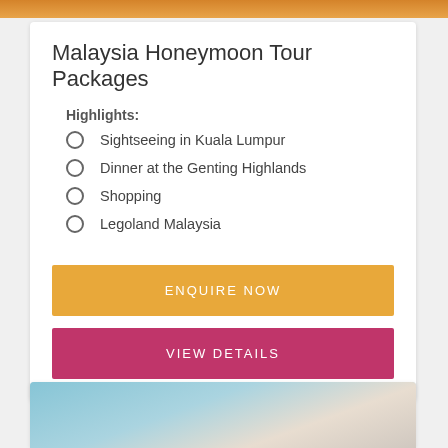[Figure (photo): Top strip showing a sunset or warm-toned landscape photo, cropped]
Malaysia Honeymoon Tour Packages
Highlights:
Sightseeing in Kuala Lumpur
Dinner at the Genting Highlands
Shopping
Legoland Malaysia
ENQUIRE NOW
VIEW DETAILS
[Figure (photo): Couple sitting together on a beach, seen from behind, ocean in background]